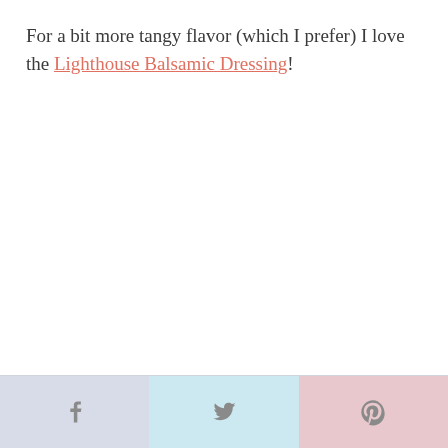For a bit more tangy flavor (which I prefer) I love the Lighthouse Balsamic Dressing!
[Figure (other): Social share bar with three buttons: Facebook (lavender), Twitter (light blue), Pinterest (light pink), each with their respective icons]